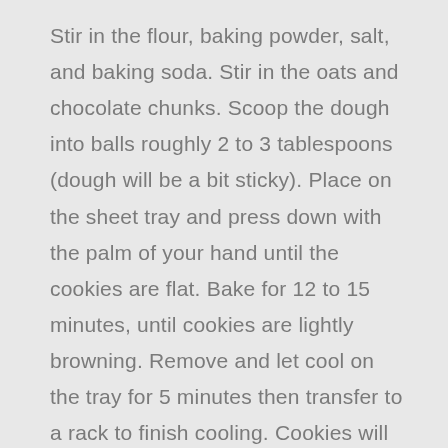Stir in the flour, baking powder, salt, and baking soda. Stir in the oats and chocolate chunks. Scoop the dough into balls roughly 2 to 3 tablespoons (dough will be a bit sticky). Place on the sheet tray and press down with the palm of your hand until the cookies are flat. Bake for 12 to 15 minutes, until cookies are lightly browning. Remove and let cool on the tray for 5 minutes then transfer to a rack to finish cooling. Cookies will firm up as they cool.